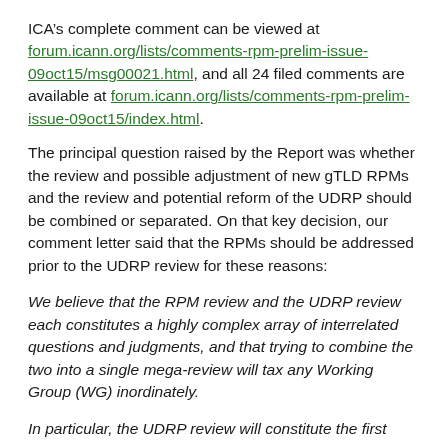ICA’s complete comment can be viewed at forum.icann.org/lists/comments-rpm-prelim-issue-09oct15/msg00021.html, and all 24 filed comments are available at forum.icann.org/lists/comments-rpm-prelim-issue-09oct15/index.html.
The principal question raised by the Report was whether the review and possible adjustment of new gTLD RPMs and the review and potential reform of the UDRP should be combined or separated. On that key decision, our comment letter said that the RPMs should be addressed prior to the UDRP review for these reasons:
We believe that the RPM review and the UDRP review each constitutes a highly complex array of interrelated questions and judgments, and that trying to combine the two into a single mega-review will tax any Working Group (WG) inordinately.
In particular, the UDRP review will constitute the first